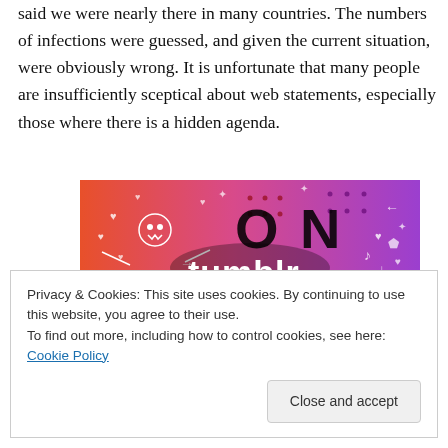said we were nearly there in many countries. The numbers of infections were guessed, and given the current situation, were obviously wrong. It is unfortunate that many people are insufficiently sceptical about web statements, especially those where there is a hidden agenda.
[Figure (illustration): Tumblr promotional banner with orange-to-purple gradient background, decorative icons (skull, hearts, arrows, music notes), large black letters 'O N' and white bold text 'tumblr']
Privacy & Cookies: This site uses cookies. By continuing to use this website, you agree to their use.
To find out more, including how to control cookies, see here: Cookie Policy